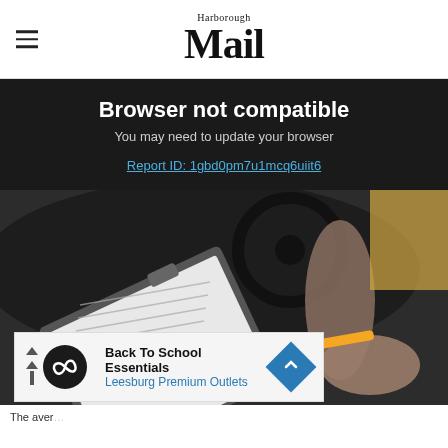Harborough Mail
Browser not compatible
You may need to update your browser
Report ID: 1gbd0pm7u1mcq6uiit6
[Figure (photo): Person sitting in a car holding a clipboard with a form and writing with an orange pencil, with steering wheel in background]
[Figure (advertisement): Ad banner: Back To School Essentials - Leesburg Premium Outlets]
The aver...